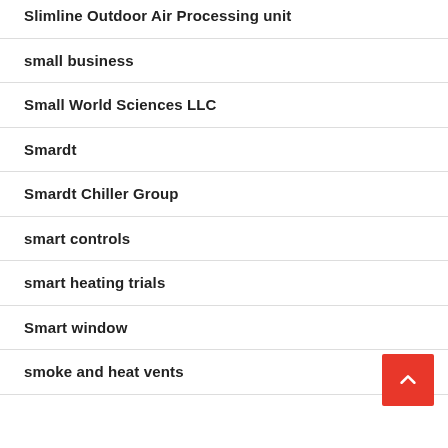Slimline Outdoor Air Processing unit
small business
Small World Sciences LLC
Smardt
Smardt Chiller Group
smart controls
smart heating trials
Smart window
smoke and heat vents